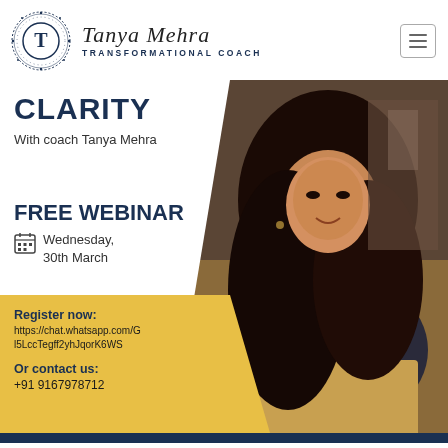[Figure (logo): Tanya Mehra Transformational Coach logo with circular mandala/dotted ring emblem and cursive text brand name]
CLARITY
With coach Tanya Mehra
FREE WEBINAR
Wednesday, 30th March
[Figure (photo): Photo of a woman with long dark hair sitting at a laptop, smiling, in a dimly lit room]
Register now: https://chat.whatsapp.com/Gl5LccTegff2yhJqorK6WS
Or contact us: +91 9167978712